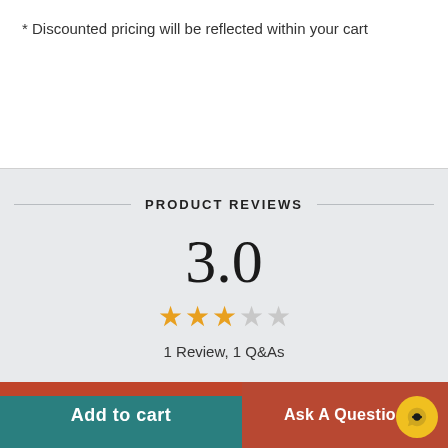* Discounted pricing will be reflected within your cart
PRODUCT REVIEWS
3.0
1 Review, 1 Q&As